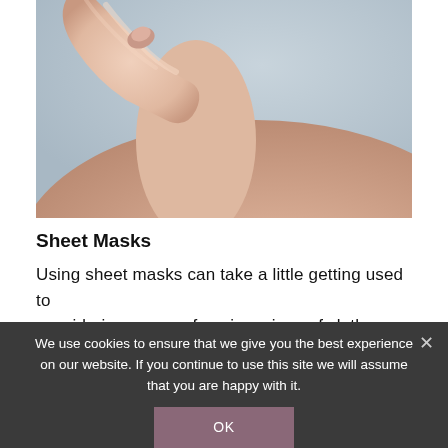[Figure (photo): Close-up photo of a hand touching a bare shoulder/neck area against a soft blue-grey background. Skin tones are warm and the image has a skincare/beauty product editorial feel.]
Sheet Masks
Using sheet masks can take a little getting used to considering on your face is a piece of cloth or paper that's
We use cookies to ensure that we give you the best experience on our website. If you continue to use this site we will assume that you are happy with it.